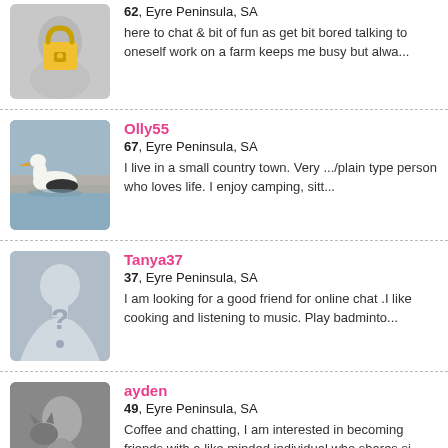[Figure (photo): Blurred face photo with a padlock emoji overlay]
62, Eyre Peninsula, SA
here to chat & bit of fun as get bit bored talking to oneself work on a farm keeps me busy but alwa...
[Figure (photo): Photo of a pelican on water]
Olly55
67, Eyre Peninsula, SA
I live in a small country town. Very .../plain type person who loves life. I enjoy camping, sitt...
[Figure (photo): Default silhouette avatar with question mark]
Tanya37
37, Eyre Peninsula, SA
I am looking for a good friend for online chat .I like cooking and listening to music. Play badminto...
[Figure (photo): Black and white photo of a person with a cat]
ayden
49, Eyre Peninsula, SA
Coffee and chatting, I am interested in becoming friends with a like minded individual who shares si...